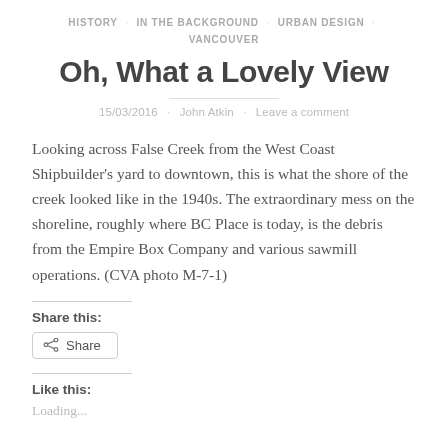HISTORY · IN THE BACKGROUND · URBAN DESIGN · VANCOUVER
Oh, What a Lovely View
15/03/2016 · John Atkin · Leave a comment
Looking across False Creek from the West Coast Shipbuilder's yard to downtown, this is what the shore of the creek looked like in the 1940s. The extraordinary mess on the shoreline, roughly where BC Place is today, is the debris from the Empire Box Company and various sawmill operations. (CVA photo M-7-1)
Share this:
Share
Like this:
Loading...